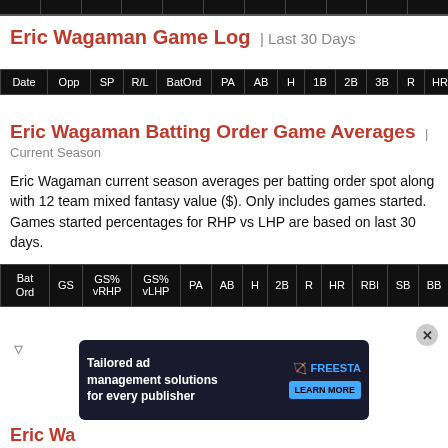| Date | Opp | SP | R/L | BatOrd | PA | AB | H | 1B | 2B | 3B | R | HR | RBI | SB | BB | S |
| --- | --- | --- | --- | --- | --- | --- | --- | --- | --- | --- | --- | --- | --- | --- | --- | --- |
Eric Wagaman Game Log | Last 30 Days
| Date | Opp | SP | R/L | BatOrd | PA | AB | H | 1B | 2B | 3B | R | HR | RBI | SB | BB | S |
| --- | --- | --- | --- | --- | --- | --- | --- | --- | --- | --- | --- | --- | --- | --- | --- | --- |
Eric Wagaman Batting Order Game Averages | Current Season
Eric Wagaman current season averages per batting order spot along with 12 team mixed fantasy value ($). Only includes games started. Games started percentages for RHP vs LHP are based on last 30 days.
| Bat Ord | GS | GS% vRHP | GS% vLHP | PA | AB | H | 2B | R | HR | RBI | SB | BB | SO | AVG | OBP |
| --- | --- | --- | --- | --- | --- | --- | --- | --- | --- | --- | --- | --- | --- | --- | --- |
Eric Wa...